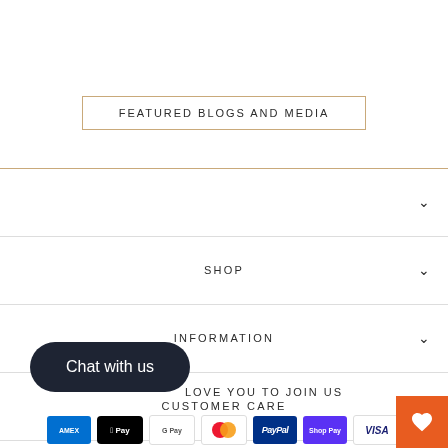FEATURED BLOGS AND MEDIA
SHOP
INFORMATION
CUSTOMER CARE
Chat with us
LOVE YOU TO JOIN US
[Figure (other): Payment method icons: American Express, Apple Pay, Google Pay, Mastercard, PayPal, Shop Pay, Visa]